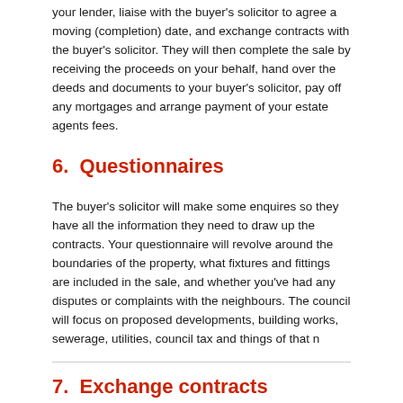your lender, liaise with the buyer's solicitor to agree a moving (completion) date, and exchange contracts with the buyer's solicitor. They will then complete the sale by receiving the proceeds on your behalf, hand over the deeds and documents to your buyer's solicitor, pay off any mortgages and arrange payment of your estate agents fees.
6.  Questionnaires
The buyer's solicitor will make some enquires so they have all the information they need to draw up the contracts. Your questionnaire will revolve around the boundaries of the property, what fixtures and fittings are included in the sale, and whether you've had any disputes or complaints with the neighbours. The council will focus on proposed developments, building works, sewerage, utilities, council tax and things of that n
7.  Exchange contracts
Once you've negotiated the terms of the contract, the final contract will be finalised and 'exchanged'. Your solicitor will receive a deposit and both you and the buyer are legally committed to the sale. If you choose not to move forward after this point, you could be sued and must return the buyer's deposit. If the buyer pulls out, they will lose their deposit.